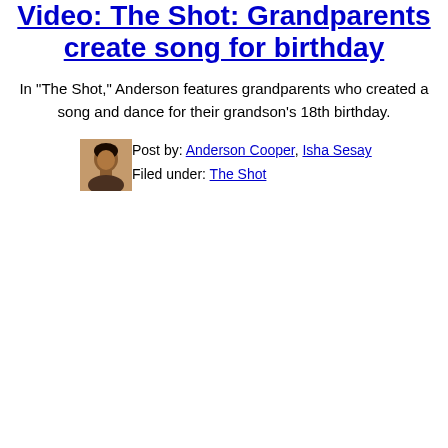Video: The Shot: Grandparents create song for birthday
In "The Shot," Anderson features grandparents who created a song and dance for their grandson's 18th birthday.
[Figure (photo): Small portrait photo of Isha Sesay]
Post by: Anderson Cooper, Isha Sesay
Filed under: The Shot